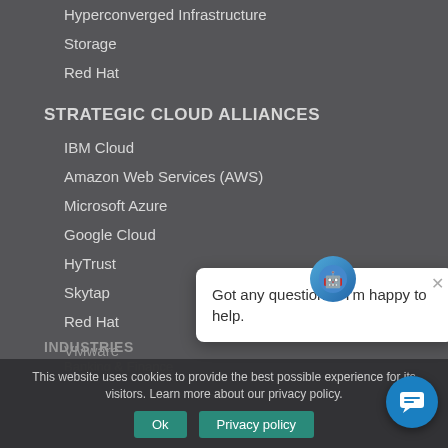Hyperconverged Infrastructure
Storage
Red Hat
STRATEGIC CLOUD ALLIANCES
IBM Cloud
Amazon Web Services (AWS)
Microsoft Azure
Google Cloud
HyTrust
Skytap
Red Hat
VMware
INDUSTRIES
Banking & Finance
This website uses cookies to provide the best possible experience for its visitors. Learn more about our privacy policy.
[Figure (illustration): Chat assistant popup with bot icon and message: Got any questions? I'm happy to help.]
[Figure (illustration): Chat bubble button in blue circle (bottom right)]